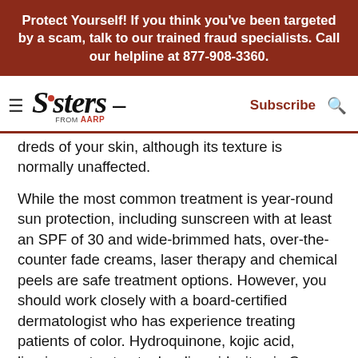Protect Yourself! If you think you've been targeted by a scam, talk to our trained fraud specialists. Call our helpline at 877-908-3360.
[Figure (logo): Sisters from AARP logo with hamburger menu, Subscribe link, and search icon navigation bar]
dreds of your skin, although its texture is normally unaffected.
While the most common treatment is year-round sun protection, including sunscreen with at least an SPF of 30 and wide-brimmed hats, over-the-counter fade creams, laser therapy and chemical peels are safe treatment options. However, you should work closely with a board-certified dermatologist who has experience treating patients of color. Hydroquinone, kojic acid, licorice root extract, glycolic acid, vitamin C, soy and alpha arbutin, alone or in combination, are effective active ingredients for evening out skin tone.